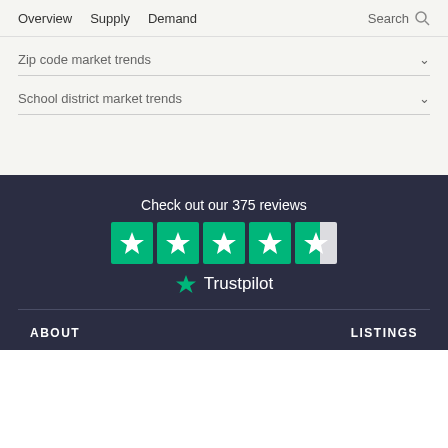Overview  Supply  Demand  Search
Zip code market trends
School district market trends
[Figure (infographic): Trustpilot rating widget showing 'Check out our 375 reviews' with 4.5 green stars and Trustpilot logo]
ABOUT
LISTINGS